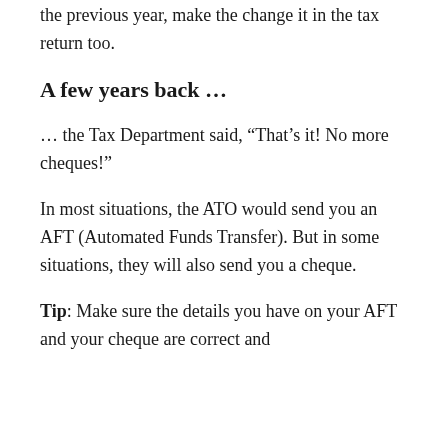the previous year, make the change it in the tax return too.
A few years back …
… the Tax Department said, “That’s it! No more cheques!”
In most situations, the ATO would send you an AFT (Automated Funds Transfer). But in some situations, they will also send you a cheque.
Tip: Make sure the details you have on your AFT and your cheque are correct and up to date.